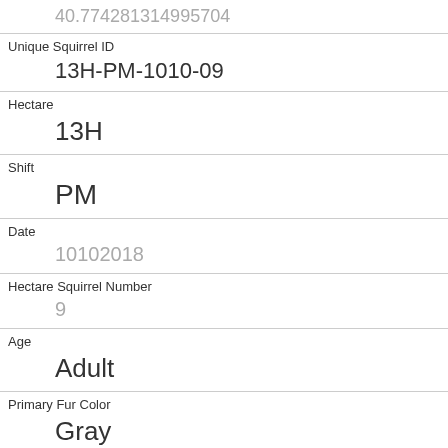| 40.7742813149957​04 |
| Unique Squirrel ID | 13H-PM-1010-09 |
| Hectare | 13H |
| Shift | PM |
| Date | 10102018 |
| Hectare Squirrel Number | 9 |
| Age | Adult |
| Primary Fur Color | Gray |
| Highlight Fur Color |  |
| Combination of Primary and Highlight Color | Gray+ |
| Color notes |  |